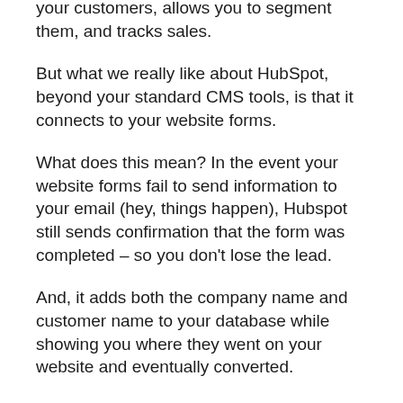your customers, allows you to segment them, and tracks sales.
But what we really like about HubSpot, beyond your standard CMS tools, is that it connects to your website forms.
What does this mean? In the event your website forms fail to send information to your email (hey, things happen), Hubspot still sends confirmation that the form was completed – so you don't lose the lead.
And, it adds both the company name and customer name to your database while showing you where they went on your website and eventually converted.